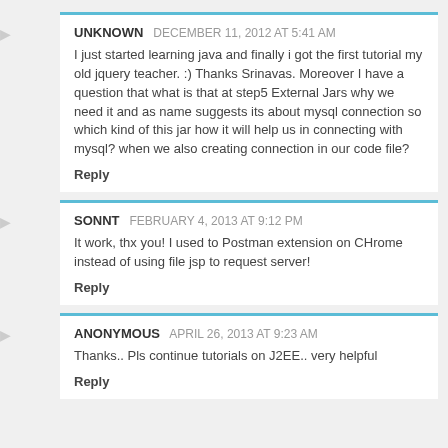UNKNOWN  DECEMBER 11, 2012 AT 5:41 AM
I just started learning java and finally i got the first tutorial my old jquery teacher. :) Thanks Srinavas. Moreover I have a question that what is that at step5 External Jars why we need it and as name suggests its about mysql connection so which kind of this jar how it will help us in connecting with mysql? when we also creating connection in our code file?
Reply
SONNT  FEBRUARY 4, 2013 AT 9:12 PM
It work, thx you! I used to Postman extension on CHrome instead of using file jsp to request server!
Reply
ANONYMOUS  APRIL 26, 2013 AT 9:23 AM
Thanks.. Pls continue tutorials on J2EE.. very helpful
Reply